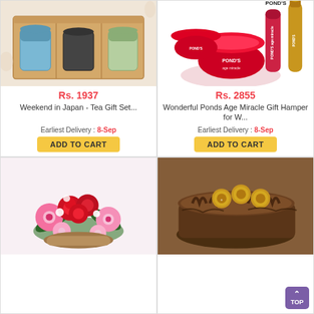[Figure (photo): Tea gift set in a wooden box with three tea tins]
Rs. 1937
Weekend in Japan - Tea Gift Set...
Earliest Delivery : 8-Sep
ADD TO CART
[Figure (photo): Pond's Age Miracle skincare gift hamper with cream jars, face wash, and serum]
Rs. 2855
Wonderful Ponds Age Miracle Gift Hamper for W...
Earliest Delivery : 8-Sep
ADD TO CART
[Figure (photo): Pink and red flower bouquet with roses and gerberas]
[Figure (photo): Chocolate cake with Ferrero Rocher chocolates on top]